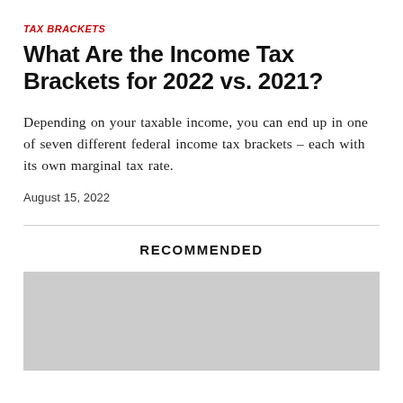TAX BRACKETS
What Are the Income Tax Brackets for 2022 vs. 2021?
Depending on your taxable income, you can end up in one of seven different federal income tax brackets – each with its own marginal tax rate.
August 15, 2022
RECOMMENDED
[Figure (photo): Gray placeholder image for recommended content]